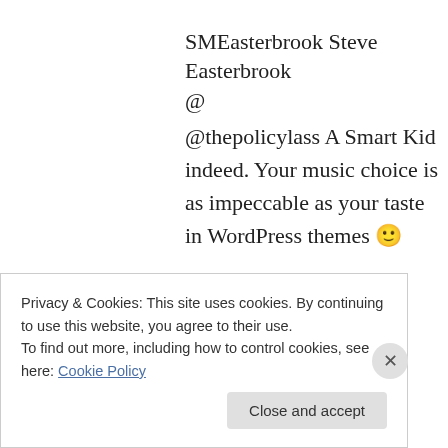SMEasterbrook Steve Easterbrook
@
@thepolicylass A Smart Kid indeed. Your music choice is as impeccable as your taste in WordPress themes 🙂
22 hours ago
SMEasterbrook Steve Easterbrook
@
@thepolicylass I see you Porcupine Tree, and
Privacy & Cookies: This site uses cookies. By continuing to use this website, you agree to their use.
To find out more, including how to control cookies, see here: Cookie Policy